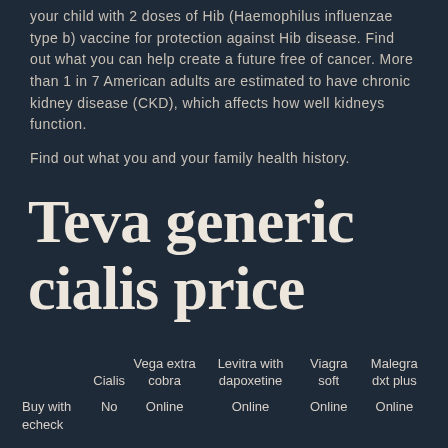your child with 2 doses of Hib (Haemophilus influenzae type b) vaccine for protection against Hib disease. Find out what you can help create a future free of cancer. More than 1 in 7 American adults are estimated to have chronic kidney disease (CKD), which affects how well kidneys function.
Find out what you and your family health history.
Teva generic cialis price
|  | Cialis | Vega extra cobra | Levitra with dapoxetine | Viagra soft | Malegra dxt plus |
| --- | --- | --- | --- | --- | --- |
| Buy with echeck | No | Online | Online | Online | Online |